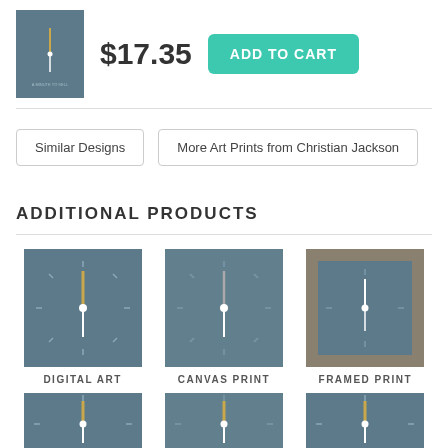[Figure (photo): Small product thumbnail of clock art print with blue-grey background]
$17.35
ADD TO CART
Similar Designs
More Art Prints from Christian Jackson
ADDITIONAL PRODUCTS
[Figure (photo): Digital Art product - clock art on blue-grey background]
DIGITAL ART
[Figure (photo): Canvas Print product - clock art on blue-grey background]
CANVAS PRINT
[Figure (photo): Framed Print product - clock art with white mat and grey frame]
FRAMED PRINT
[Figure (photo): Additional product row - first item partial]
[Figure (photo): Additional product row - second item partial]
[Figure (photo): Additional product row - third item partial]